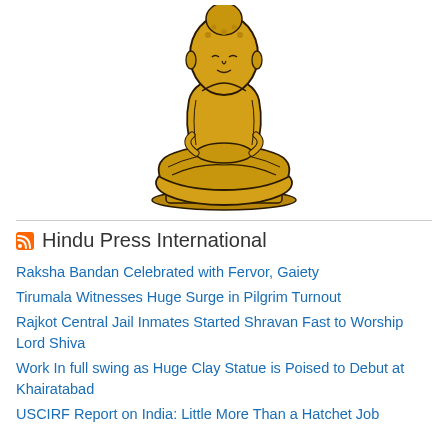[Figure (illustration): Golden Buddha statue in meditation pose (lotus position), rendered in dark gold/amber tones with black outline details, centered on white background]
Hindu Press International
Raksha Bandan Celebrated with Fervor, Gaiety
Tirumala Witnesses Huge Surge in Pilgrim Turnout
Rajkot Central Jail Inmates Started Shravan Fast to Worship Lord Shiva
Work In full swing as Huge Clay Statue is Poised to Debut at Khairatabad
USCIRF Report on India: Little More Than a Hatchet Job